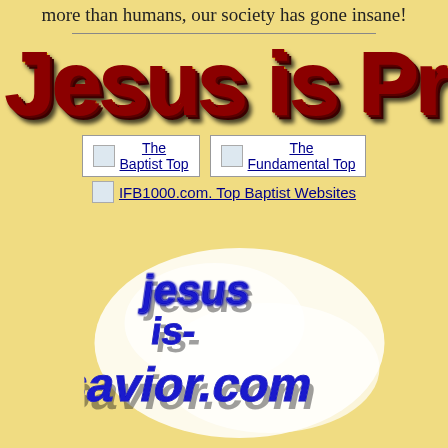more than humans, our society has gone insane!
[Figure (illustration): Large decorative 3D text reading 'Jesus is Pre' (truncated) in yellow-orange gradient with dark shadow, on tan background]
[Figure (other): Two link boxes: 'The Baptist Top' and 'The Fundamental Top', followed by 'IFB1000.com. Top Baptist Websites' link with image]
[Figure (logo): 3D blue metallic logo text reading 'jesus is-savior.com' with white cloud/blob background and shadow]